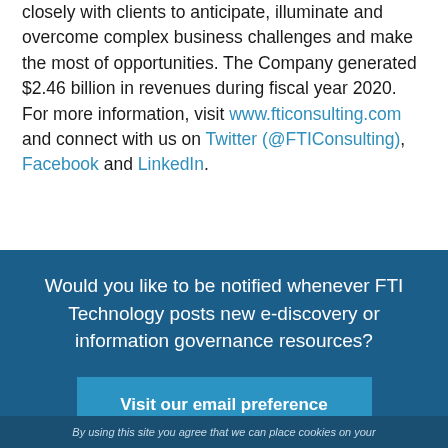in 29 countries, FTI Consulting professionals work closely with clients to anticipate, illuminate and overcome complex business challenges and make the most of opportunities. The Company generated $2.46 billion in revenues during fiscal year 2020. For more information, visit www.fticonsulting.com and connect with us on Twitter (@FTIConsulting), Facebook and LinkedIn.
Would you like to be notified whenever FTI Technology posts new e-discovery or information governance resources?
Visit our email preference center »
By using this site you agree that we can place cookies on your